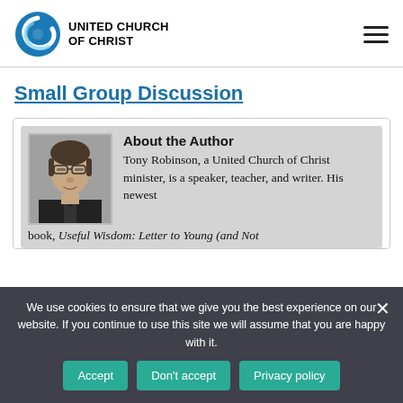[Figure (logo): United Church of Christ logo with circular swirl icon and organization name text]
Small Group Discussion
[Figure (photo): Author photo of Tony Robinson, a middle-aged man with glasses wearing dark clothing]
About the Author
Tony Robinson, a United Church of Christ minister, is a speaker, teacher, and writer. His newest book, Useful Wisdom: Letter to Young (and Not
We use cookies to ensure that we give you the best experience on our website. If you continue to use this site we will assume that you are happy with it.